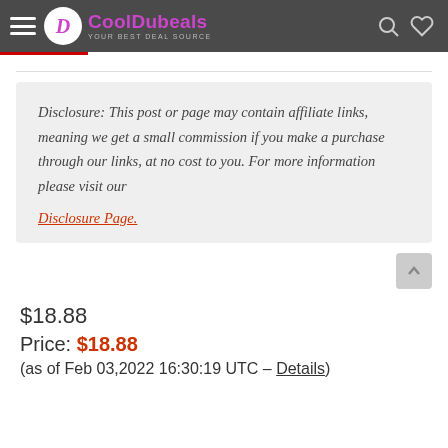CoolDubeals — Your Best Deal Source
Disclosure: This post or page may contain affiliate links, meaning we get a small commission if you make a purchase through our links, at no cost to you. For more information please visit our Disclosure Page.
$18.88
Price: $18.88
(as of Feb 03,2022 16:30:19 UTC – Details)